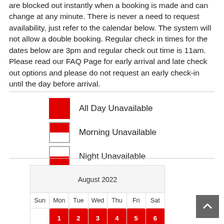are blocked out instantly when a booking is made and can change at any minute. There is never a need to request availability, just refer to the calendar below. The system will not allow a double booking. Regular check in times for the dates below are 3pm and regular check out time is 11am. Please read our FAQ Page for early arrival and late check out options and please do not request an early check-in until the day before arrival.
[Figure (infographic): Legend showing three calendar icon types: red filled square = All Day Unavailable; square with red top half = Morning Unavailable; square with red bottom half = Night Unavailable]
| Sun | Mon | Tue | Wed | Thu | Fri | Sat |
| --- | --- | --- | --- | --- | --- | --- |
|  | 1 | 2 | 3 | 4 | 5 | 6 |